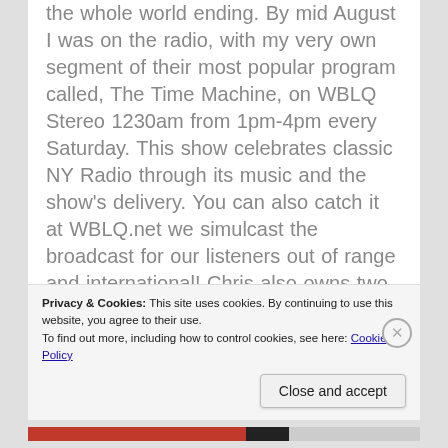the whole world ending. By mid August I was on the radio, with my very own segment of their most popular program called, The Time Machine, on WBLQ Stereo 1230am from 1pm-4pm every Saturday. This show celebrates classic NY Radio through its music and the show's delivery. You can also catch it at WBLQ.net we simulcast the broadcast for our listeners out of range and international! Chris also owns two other stations that I have done shows for, mostly remote spots, meaning I am not in the studio, but rather on location broadcasting live. The other two stations are Fm frequency, they are 96.7 The Buzz, which is an alternative rock station, and 95.1 Kent County Classic Rock. Looking ahead, the goal is for me to eventually be a personality on one, if not both
Privacy & Cookies: This site uses cookies. By continuing to use this website, you agree to their use.
To find out more, including how to control cookies, see here: Cookie Policy